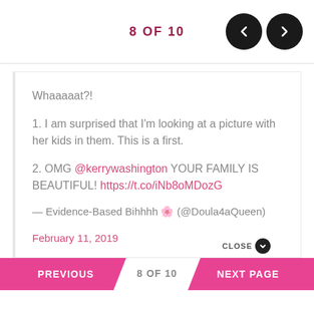8 OF 10
Whaaaaat?!

1. I am surprised that I'm looking at a picture with her kids in them. This is a first.

2. OMG @kerrywashington YOUR FAMILY IS BEAUTIFUL! https://t.co/iNb8oMDozG

— Evidence-Based Bihhhh 🌸 (@Doula4aQueen)
February 11, 2019
PREVIOUS  8 OF 10  NEXT PAGE